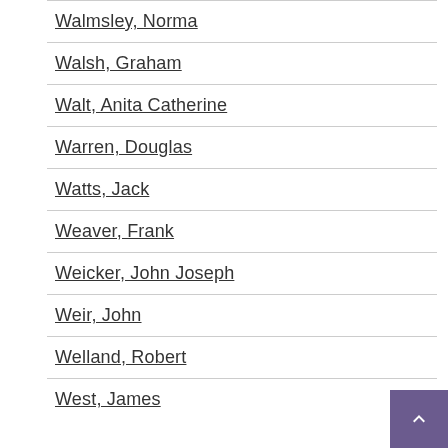Walmsley, Norma
Walsh, Graham
Walt, Anita Catherine
Warren, Douglas
Watts, Jack
Weaver, Frank
Weicker, John Joseph
Weir, John
Welland, Robert
West, James